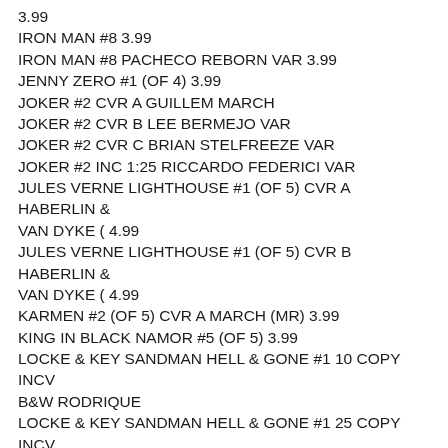3.99
IRON MAN #8 3.99
IRON MAN #8 PACHECO REBORN VAR 3.99
JENNY ZERO #1 (OF 4) 3.99
JOKER #2 CVR A GUILLEM MARCH
JOKER #2 CVR B LEE BERMEJO VAR
JOKER #2 CVR C BRIAN STELFREEZE VAR
JOKER #2 INC 1:25 RICCARDO FEDERICI VAR
JULES VERNE LIGHTHOUSE #1 (OF 5) CVR A HABERLIN & VAN DYKE ( 4.99
JULES VERNE LIGHTHOUSE #1 (OF 5) CVR B HABERLIN & VAN DYKE ( 4.99
KARMEN #2 (OF 5) CVR A MARCH (MR) 3.99
KING IN BLACK NAMOR #5 (OF 5) 3.99
LOCKE & KEY SANDMAN HELL & GONE #1 10 COPY INCV B&W RODRIQUE
LOCKE & KEY SANDMAN HELL & GONE #1 25 COPY INCV JH WILLIAMS
LOCKE & KEY SANDMAN HELL & GONE #1 CVR A